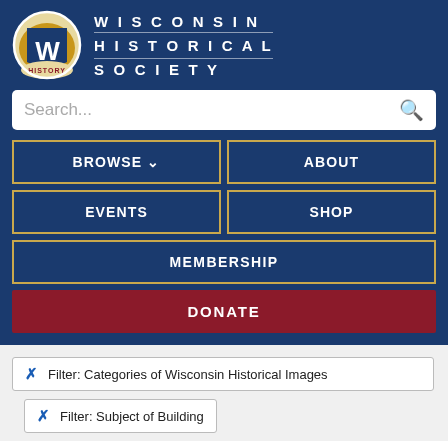[Figure (logo): Wisconsin Historical Society logo with stylized W and baseball glove, text WISCONSIN HISTORICAL SOCIETY]
WISCONSIN HISTORICAL SOCIETY
Search...
BROWSE
ABOUT
EVENTS
SHOP
MEMBERSHIP
DONATE
Filter: Categories of Wisconsin Historical Images
Filter: Subject of Building